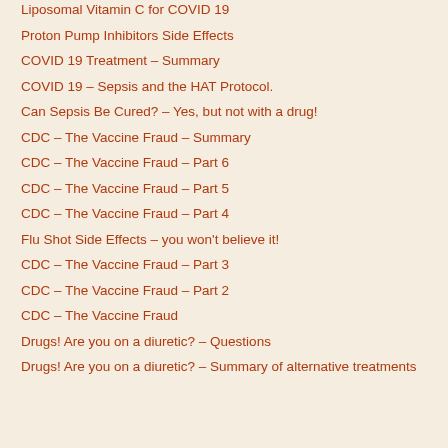Liposomal Vitamin C for COVID 19
Proton Pump Inhibitors Side Effects
COVID 19 Treatment – Summary
COVID 19 – Sepsis and the HAT Protocol.
Can Sepsis Be Cured? – Yes, but not with a drug!
CDC – The Vaccine Fraud – Summary
CDC – The Vaccine Fraud – Part 6
CDC – The Vaccine Fraud – Part 5
CDC – The Vaccine Fraud – Part 4
Flu Shot Side Effects – you won't believe it!
CDC – The Vaccine Fraud – Part 3
CDC – The Vaccine Fraud – Part 2
CDC – The Vaccine Fraud
Drugs! Are you on a diuretic? – Questions
Drugs! Are you on a diuretic? – Summary of alternative treatments